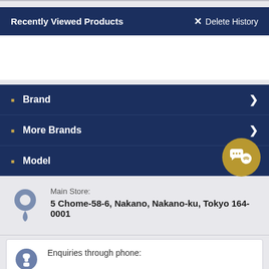Recently Viewed Products
Delete History
Brand
More Brands
Model
Main Store:
5 Chome-58-6, Nakano, Nakano-ku, Tokyo 164-0001
Enquiries through phone: